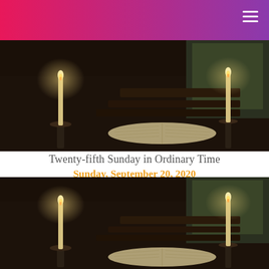[Figure (photo): Two candles on candlesticks with an open book on a dark altar, church interior]
Twenty-fifth Sunday in Ordinary Time
Sunday, September 20, 2020
[Figure (photo): Two candles on candlesticks with an open book on a dark altar, church interior (repeat)]